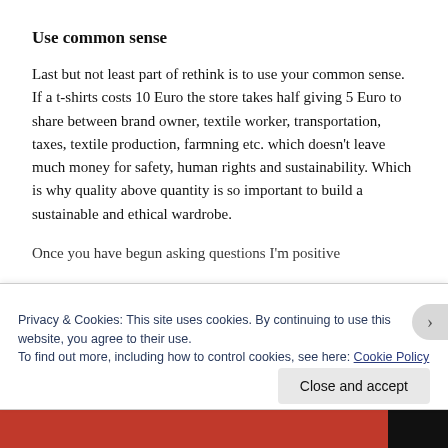Use common sense
Last but not least part of rethink is to use your common sense. If a t-shirts costs 10 Euro the store takes half giving 5 Euro to share between brand owner, textile worker, transportation, taxes, textile production, farmning etc. which doesn’t leave much money for safety, human rights and sustainability. Which is why quality above quantity is so important to build a sustainable and ethical wardrobe.
Once you have begun asking questions I’m positive
Privacy & Cookies: This site uses cookies. By continuing to use this website, you agree to their use.
To find out more, including how to control cookies, see here: Cookie Policy
Close and accept